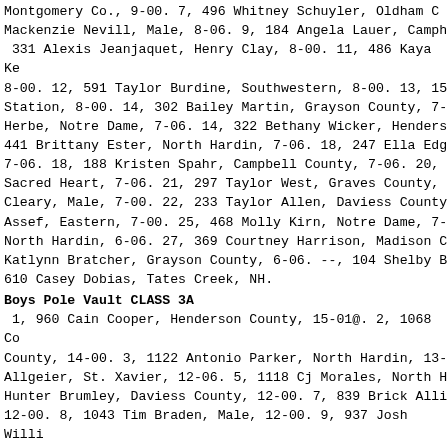Montgomery Co., 9-00. 7, 496 Whitney Schuyler, Oldham Co. Mackenzie Nevill, Male, 8-06. 9, 184 Angela Lauer, Camph 331 Alexis Jeanjaquet, Henry Clay, 8-00. 11, 486 Kaya Ke 8-00. 12, 591 Taylor Burdine, Southwestern, 8-00. 13, 15 Station, 8-00. 14, 302 Bailey Martin, Grayson County, 7- Herbe, Notre Dame, 7-06. 14, 322 Bethany Wicker, Henders 441 Brittany Ester, North Hardin, 7-06. 18, 247 Ella Edg 7-06. 18, 188 Kristen Spahr, Campbell County, 7-06. 20, Sacred Heart, 7-06. 21, 297 Taylor West, Graves County, Cleary, Male, 7-00. 22, 233 Taylor Allen, Daviess County Assef, Eastern, 7-00. 25, 468 Molly Kirn, Notre Dame, 7- North Hardin, 6-06. 27, 369 Courtney Harrison, Madison C Katlynn Bratcher, Grayson County, 6-06. --, 104 Shelby B 610 Casey Dobias, Tates Creek, NH.
Boys Pole Vault CLASS 3A
1, 960 Cain Cooper, Henderson County, 15-01@. 2, 1068 Co County, 14-00. 3, 1122 Antonio Parker, North Hardin, 13- Allgeier, St. Xavier, 12-06. 5, 1118 Cj Morales, North H Hunter Brumley, Daviess County, 12-00. 7, 839 Brick Alli 12-00. 8, 1043 Tim Braden, Male, 12-00. 9, 937 Josh Willi 11-06. 10, 1057 Jonah Quire, Male, 11-06. 11, 1278 John 12, 767 Chris Hall, Bryan Station, 11-00. 13, 1226 Drew 10-06. 13, 1311 Daniel McWilliams, Woodford County, 10-0 Leskiv, Anderson County, 10-06. 13, 805 William Seiter, 10-06. 13, 865 Bailey Harrison, Dixie Heights, 10-06. 18 Morrison, Lafayette, 10-06. --, 1237 Eric Andrews, South Daniel Pitman, Pulaski County, NH. --, 1248 Austin Harde --, 934 Trey Sanders, Grayson County, NH. --, 1212 Josia County, NH. --, 1220 Corey Phelps, Scott County, NH.